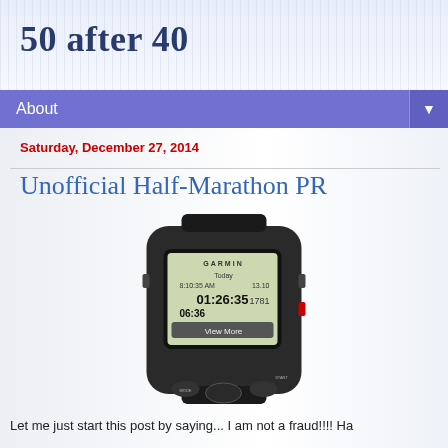50 after 40
About ▼
Saturday, December 27, 2014
Unofficial Half-Marathon PR
[Figure (photo): A Garmin GPS running watch displaying: Today, 8:10:35 AM, 13.10 (miles), 01:26:35 (elapsed time), 1781 (calories/elevation), 06:36 (pace), View More button.]
Let me just start this post by saying... I am not a fraud!!!! Ha